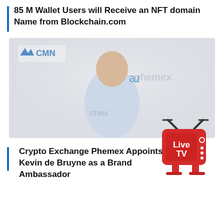85 M Wallet Users will Receive an NFT domain Name from Blockchain.com
[Figure (photo): A footballer wearing a light blue Manchester City jersey with Phemex crypto exchange branding visible in the background. CMN logo visible in top left corner.]
Crypto Exchange Phemex Appoints Kevin de Bruyne as a Brand Ambassador
[Figure (logo): Live TV icon - red TV set with antenna and Live TV text in white]